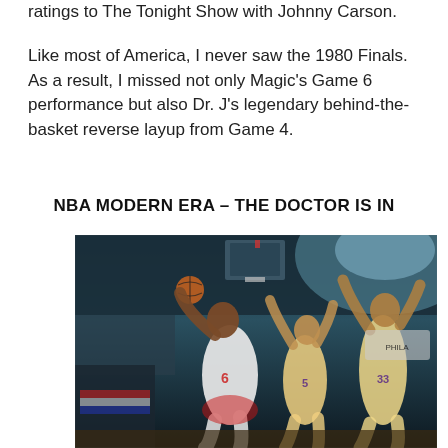ratings to The Tonight Show with Johnny Carson.
Like most of America, I never saw the 1980 Finals. As a result, I missed not only Magic's Game 6 performance but also Dr. J's legendary behind-the-basket reverse layup from Game 4.
NBA MODERN ERA – THE DOCTOR IS IN
[Figure (photo): Basketball action photo showing a Philadelphia 76ers player wearing number 6 (Dr. J / Julius Erving) performing a layup against Los Angeles Lakers defenders including number 33 (Kareem Abdul-Jabbar) and number 5, in an arena with a packed crowd and bright arena lighting.]